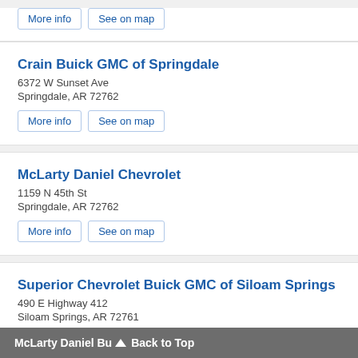More info | See on map
Crain Buick GMC of Springdale
6372 W Sunset Ave
Springdale, AR 72762
More info | See on map
McLarty Daniel Chevrolet
1159 N 45th St
Springdale, AR 72762
More info | See on map
Superior Chevrolet Buick GMC of Siloam Springs
490 E Highway 412
Siloam Springs, AR 72761
More info | See on map
McLarty Daniel Bu... Back to Top